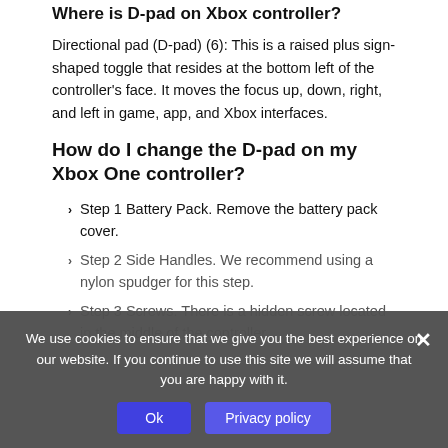Where is D-pad on Xbox controller?
Directional pad (D-pad) (6): This is a raised plus sign-shaped toggle that resides at the bottom left of the controller’s face. It moves the focus up, down, right, and left in game, app, and Xbox interfaces.
How do I change the D-pad on my Xbox One controller?
Step 1 Battery Pack. Remove the battery pack cover.
Step 2 Side Handles. We recommend using a nylon spudger for this step.
Step 3 Screws. There is a hidden screw located in the middle of the controller
We use cookies to ensure that we give you the best experience on our website. If you continue to use this site we will assume that you are happy with it.